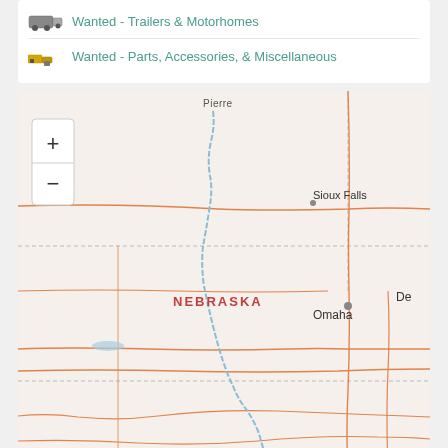Wanted - Trailers & Motorhomes
Wanted - Parts, Accessories, & Miscellaneous
[Figure (map): Interactive map showing Nebraska and surrounding states including South Dakota (Sioux Falls), Iowa/Missouri (Omaha, Kansas City, Des Moines partial), with orange road lines, blue river (Missouri/Niobrara), state labels, and zoom controls (+/-).]